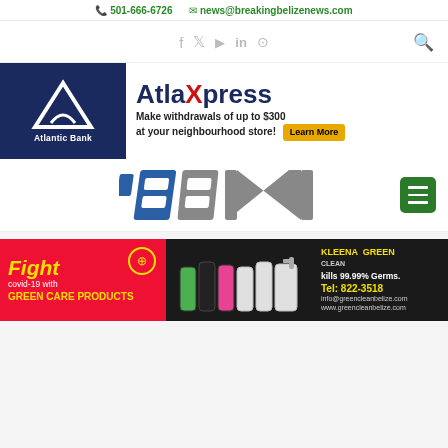✆ 501-666-6726  ✉ news@breakingbelizenews.com
[Figure (other): Social media icons bar (Facebook, Twitter, Play, LinkedIn, Instagram) with search icon]
[Figure (other): Atlantic Bank AtlaXpress advertisement banner: Make withdrawals of up to $300 at your neighbourhood store! Learn More]
[Figure (logo): BBN (Breaking Belize News) logo with hamburger menu button]
[Figure (other): Green Care Products advertisement: Fight covid-19 with GREEN CARE PRODUCTS, kills 99.99% Germs. Tel: 822-3518, info@greencleanbelize.com, www.greencleanbelize.com]